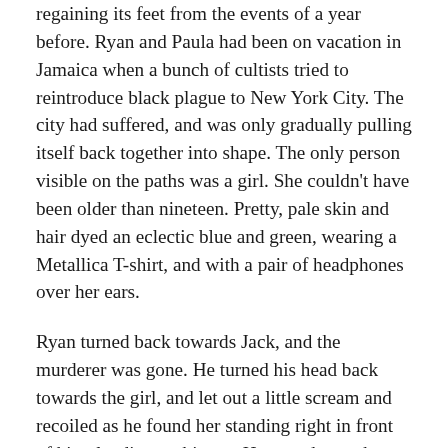regaining its feet from the events of a year before. Ryan and Paula had been on vacation in Jamaica when a bunch of cultists tried to reintroduce black plague to New York City. The city had suffered, and was only gradually pulling itself back together into shape. The only person visible on the paths was a girl. She couldn't have been older than nineteen. Pretty, pale skin and hair dyed an eclectic blue and green, wearing a Metallica T-shirt, and with a pair of headphones over her ears.
Ryan turned back towards Jack, and the murderer was gone. He turned his head back towards the girl, and let out a little scream and recoiled as he found her standing right in front of him, landing on his ass. He stared up at her, as she held the headphones in one hand. A distant whistling emerged from the speakers. “What’s the matter,